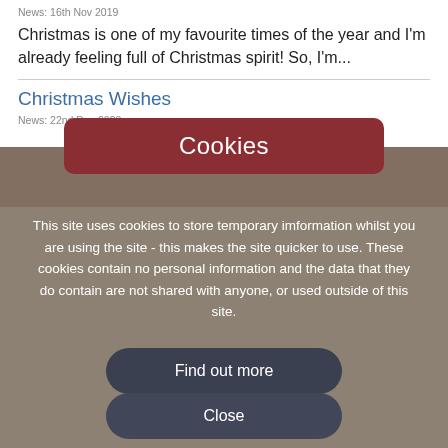News: 16th Nov 2019
Christmas is one of my favourite times of the year and I'm already feeling full of Christmas spirit! So, I'm...
Christmas Wishes
News: 22nd Dec 2020
Cookies
This site uses cookies to store temporary imformation whilst you are using the site - this makes the site quicker to use. These cookies contain no personal information and the data that they do contain are not shared with anyone, or used outside of this site.
Find out more
Close